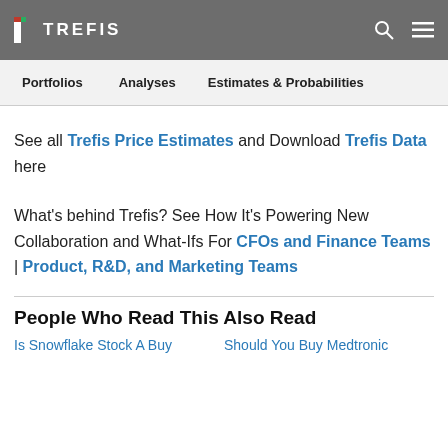TREFIS
See all Trefis Price Estimates and Download Trefis Data here
What's behind Trefis? See How It's Powering New Collaboration and What-Ifs For CFOs and Finance Teams | Product, R&D, and Marketing Teams
People Who Read This Also Read
Is Snowflake Stock A Buy
Should You Buy Medtronic